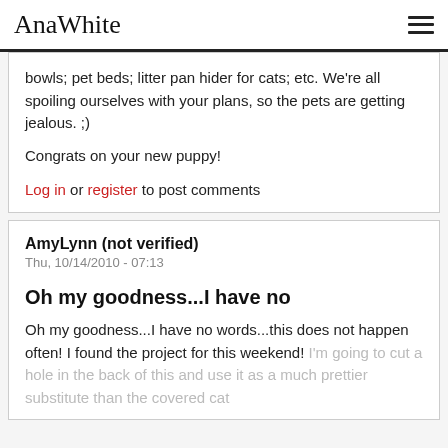AnaWhite
bowls; pet beds; litter pan hider for cats; etc. We're all spoiling ourselves with your plans, so the pets are getting jealous. ;)

Congrats on your new puppy!
Log in or register to post comments
AmyLynn (not verified)
Thu, 10/14/2010 - 07:13
Oh my goodness...I have no
Oh my goodness...I have no words...this does not happen often! I found the project for this weekend! I'm going to cut a hole in the back of this and use it as a much prettier substitute than the covered cat